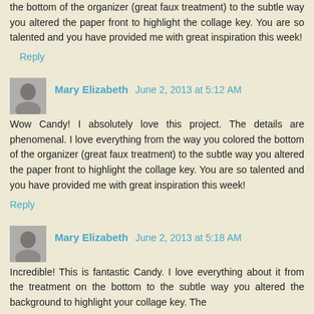the bottom of the organizer (great faux treatment) to the subtle way you altered the paper front to highlight the collage key. You are so talented and you have provided me with great inspiration this week!
Reply
Mary Elizabeth  June 2, 2013 at 5:12 AM
Wow Candy! I absolutely love this project. The details are phenomenal. I love everything from the way you colored the bottom of the organizer (great faux treatment) to the subtle way you altered the paper front to highlight the collage key. You are so talented and you have provided me with great inspiration this week!
Reply
Mary Elizabeth  June 2, 2013 at 5:18 AM
Incredible! This is fantastic Candy. I love everything about it from the treatment on the bottom to the subtle way you altered the background to highlight your collage key. The